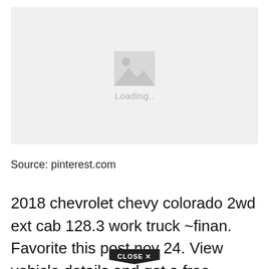[Figure (illustration): Image loading placeholder with a grey background, a mountain/photo icon in the center, and 'Loading..' text below the icon.]
Source: pinterest.com
2018 chevrolet chevy colorado 2wd ext cab 128.3 work truck ~finan. Favorite this post nov 24. View vehicle details and get a free